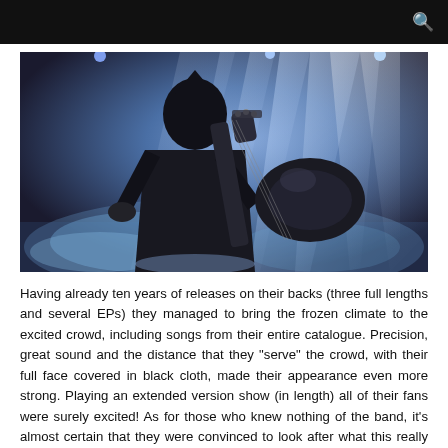[Figure (photo): A guitarist performing on stage with dramatic blue/purple stage lighting rays and haze. The performer wears a black hood covering their face and plays an electric guitar while dressed in a dark jacket.]
Having already ten years of releases on their backs (three full lengths and several EPs) they managed to bring the frozen climate to the excited crowd, including songs from their entire catalogue. Precision, great sound and the distance that they "serve" the crowd, with their full face covered in black cloth, made their appearance even more strong. Playing an extended version show (in length) all of their fans were surely excited! As for those who knew nothing of the band, it's almost certain that they were convinced to look after what this really great band has done so